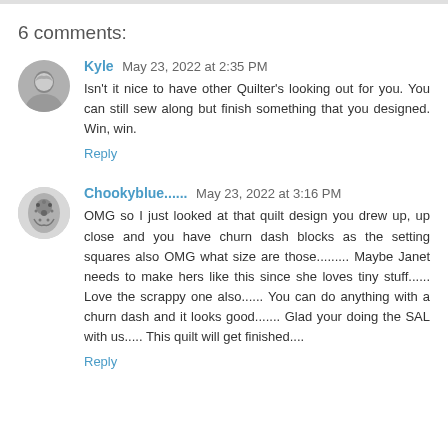6 comments:
Kyle May 23, 2022 at 2:35 PM
Isn't it nice to have other Quilter's looking out for you. You can still sew along but finish something that you designed. Win, win.
Reply
Chookyblue...... May 23, 2022 at 3:16 PM
OMG so I just looked at that quilt design you drew up, up close and you have churn dash blocks as the setting squares also OMG what size are those......... Maybe Janet needs to make hers like this since she loves tiny stuff...... Love the scrappy one also...... You can do anything with a churn dash and it looks good....... Glad your doing the SAL with us..... This quilt will get finished....
Reply